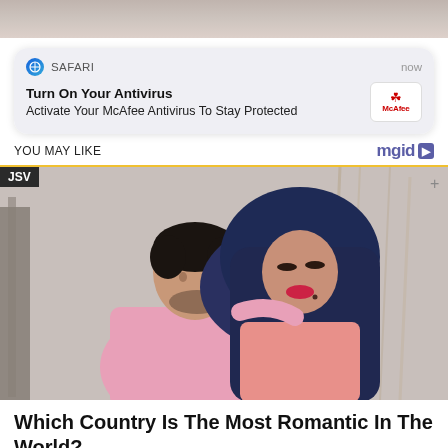[Figure (screenshot): Top background photo strip — blurred outdoor scene]
[Figure (screenshot): Safari browser push notification card reading: 'Turn On Your Antivirus — Activate Your McAfee Antivirus To Stay Protected' with McAfee logo, timestamp 'now']
YOU MAY LIKE
[Figure (logo): mgid logo with arrow]
[Figure (photo): Photo of a couple — man in pink shirt kissing a woman wearing dark navy hijab, outdoor setting, JSV label in top-left corner]
Which Country Is The Most Romantic In The World?
BRAINBERRIES